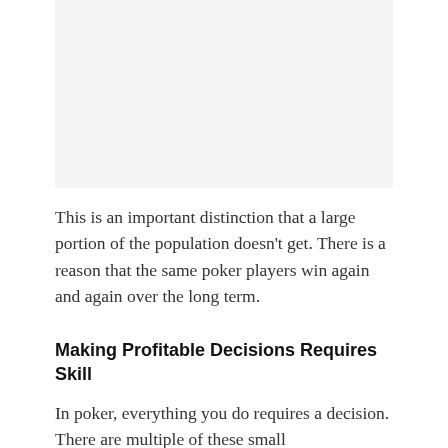[Figure (other): Blank or whitespace image placeholder at the top of the page]
This is an important distinction that a large portion of the population doesn't get. There is a reason that the same poker players win again and again over the long term.
Making Profitable Decisions Requires Skill
In poker, everything you do requires a decision. There are multiple of these small